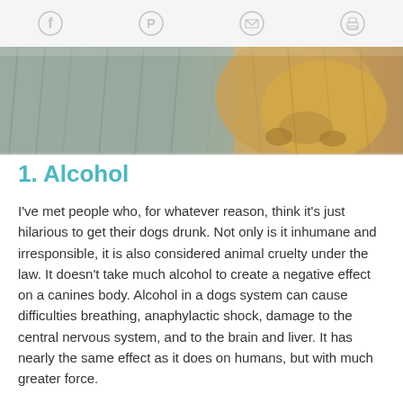Social media icons (Facebook, Pinterest, Email, Print)
[Figure (photo): Close-up photo of a dog's fur and paw, showing grey fur and a golden/tan paw]
1. Alcohol
I've met people who, for whatever reason, think it's just hilarious to get their dogs drunk. Not only is it inhumane and irresponsible, it is also considered animal cruelty under the law. It doesn't take much alcohol to create a negative effect on a canines body. Alcohol in a dogs system can cause difficulties breathing, anaphylactic shock, damage to the central nervous system, and to the brain and liver. It has nearly the same effect as it does on humans, but with much greater force.
2. Chocolate